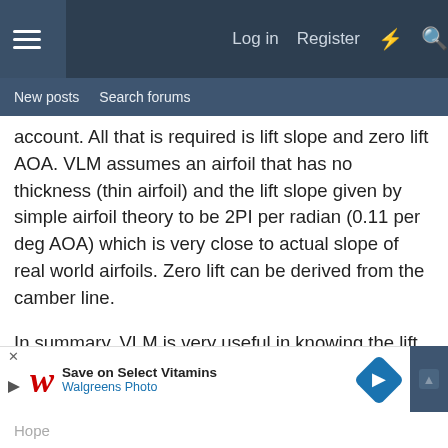Log in  Register
New posts  Search forums
account. All that is required is lift slope and zero lift AOA. VLM assumes an airfoil that has no thickness (thin airfoil) and the lift slope given by simple airfoil theory to be 2PI per radian (0.11 per deg AOA) which is very close to actual slope of real world airfoils. Zero lift can be derived from the camber line.
In summary, VLM is very useful in knowing the lift distribution given a certain wing platform and consequently the induced drag. It also is useful in getting NP for stability calculations. All of this does not require section cl and is independent of airfoil geometry. On the other hand VLM cannot do max lift or profile drag of the wing as this would require viscous modeling and is dependent on airfoil section geometry.
Hope